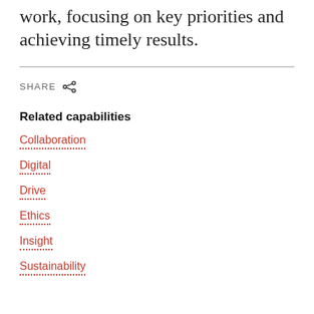work, focusing on key priorities and achieving timely results.
SHARE
Related capabilities
Collaboration
Digital
Drive
Ethics
Insight
Sustainability